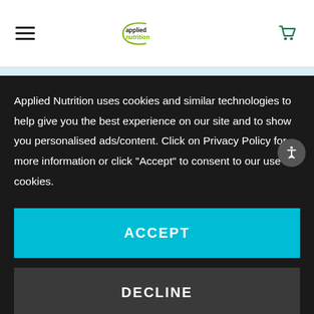[Figure (logo): Applied Nutrition logo with circular arc and green/black text]
Applied Nutrition uses cookies and similar technologies to help give you the best experience on our site and to show you personalised ads/content. Click on Privacy Policy for more information or click "Accept" to consent to our use of cookies.
ACCEPT
DECLINE